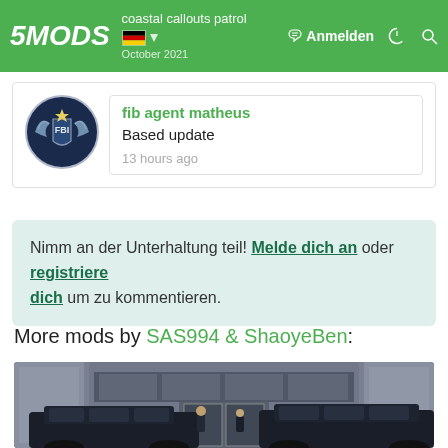5MODS | coastal callouts patrol | Anmelden
fib agent matheus
Based update
13 hours ago
Nimm an der Unterhaltung teil! Melde dich an oder registriere dich um zu kommentieren.
More mods by SAS994 & ShaoyeBen:
[Figure (screenshot): Screenshot of a mod showing two dark SUVs parked in front of a large grey building, with two characters standing between them.]